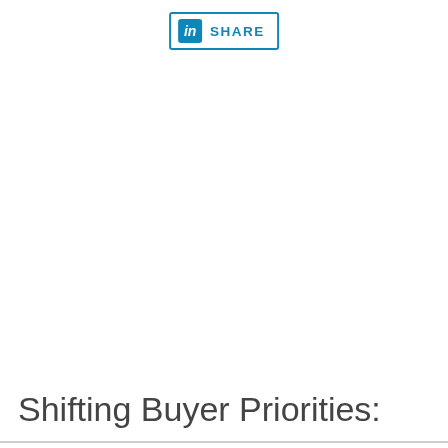[Figure (logo): LinkedIn Share button with blue border, LinkedIn 'in' icon and SHARE text]
Shifting Buyer Priorities:
This website stores cookies on your computer. These cookies are used to improve your website and provide more personalized services to you, both on this website and through other media. To find out more about the cookies we use, see our Privacy Policy.
We won't track your information when you visit our site. But in order to comply with your preferences, we'll have to use just one tiny cookie so that you're not asked to make this choice again.